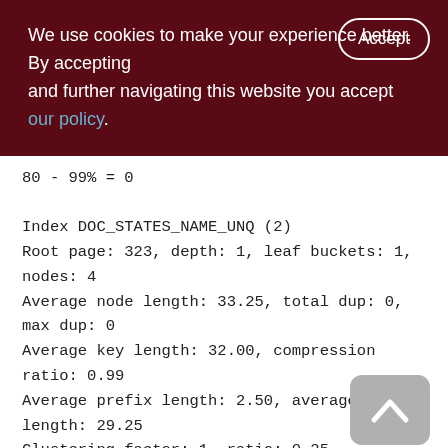We use cookies to make your experience better. By accepting and further navigating this website you accept our policy.
80 - 99% = 0

Index DOC_STATES_NAME_UNQ (2)
Root page: 323, depth: 1, leaf buckets: 1, nodes: 4
Average node length: 33.25, total dup: 0, max dup: 0
Average key length: 32.00, compression ratio: 0.99
Average prefix length: 2.50, average data length: 29.25
Clustering factor: 1, ratio: 0.25